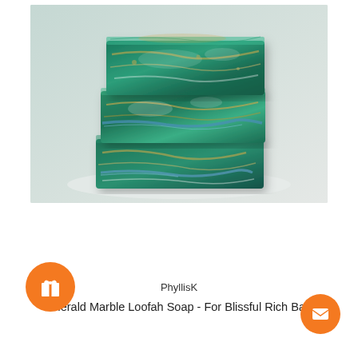[Figure (photo): Three stacked bars of emerald green marbled loofah soap with gold and blue swirl patterns, photographed on a white marble surface against a light gray background.]
PhyllisK
Emerald Marble Loofah Soap - For Blissful Rich Bath